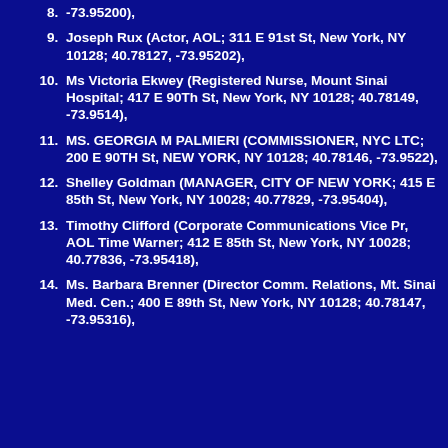-73.95200),
Joseph Rux (Actor, AOL; 311 E 91st St, New York, NY 10128; 40.78127, -73.95202),
Ms Victoria Ekwey (Registered Nurse, Mount Sinai Hospital; 417 E 90Th St, New York, NY 10128; 40.78149, -73.9514),
MS. GEORGIA M PALMIERI (COMMISSIONER, NYC LTC; 200 E 90TH St, NEW YORK, NY 10128; 40.78146, -73.9522),
Shelley Goldman (MANAGER, CITY OF NEW YORK; 415 E 85th St, New York, NY 10028; 40.77829, -73.95404),
Timothy Clifford (Corporate Communications Vice Pr, AOL Time Warner; 412 E 85th St, New York, NY 10028; 40.77836, -73.95418),
Ms. Barbara Brenner (Director Comm. Relations, Mt. Sinai Med. Cen.; 400 E 89th St, New York, NY 10128; 40.78147, -73.95316),